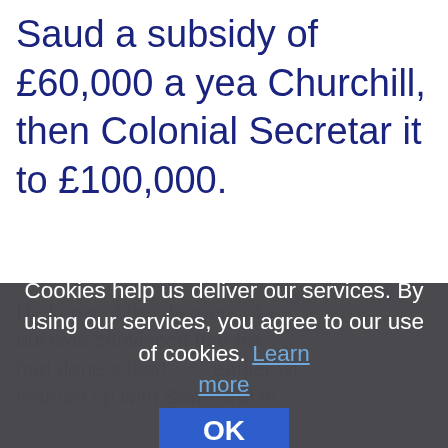Saud a subsidy of £60,000 a yea Churchill, then Colonial Secretar it to £100,000.
He knew of the dangers of wa but was convinced that his teamed up with Saud and his had done a lead earlier wi
Cookies help us deliver our services. By using our services, you agree to our use of cookies. Learn more
OK